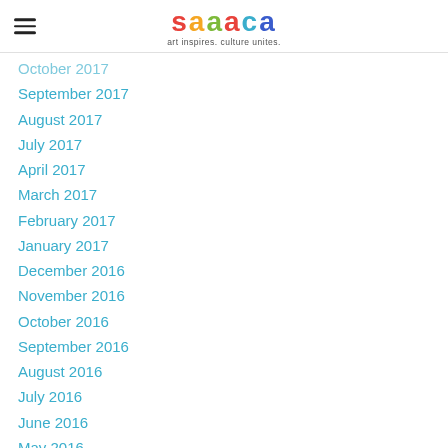saaca — art inspires. culture unites.
October 2017
September 2017
August 2017
July 2017
April 2017
March 2017
February 2017
January 2017
December 2016
November 2016
October 2016
September 2016
August 2016
July 2016
June 2016
May 2016
Categories
All